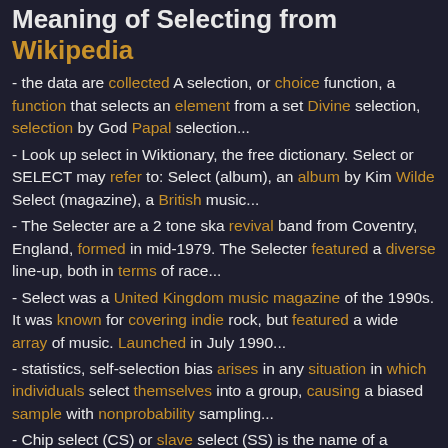Meaning of Selecting from Wikipedia
- the data are collected A selection, or choice function, a function that selects an element from a set Divine selection, selection by God Papal selection...
- Look up select in Wiktionary, the free dictionary. Select or SELECT may refer to: Select (album), an album by Kim Wilde Select (magazine), a British music...
- The Selecter are a 2 tone ska revival band from Coventry, England, formed in mid-1979. The Selecter featured a diverse line-up, both in terms of race...
- Select was a United Kingdom music magazine of the 1990s. It was known for covering indie rock, but featured a wide array of music. Launched in July 1990...
- statistics, self-selection bias arises in any situation in which individuals select themselves into a group, causing a biased sample with nonprobability sampling...
- Chip select (CS) or slave select (SS) is the name of a control line in digital electronics used to select one (or a set) of integrated circuits (commonly...
- Select Medical is a healthcare company based in...